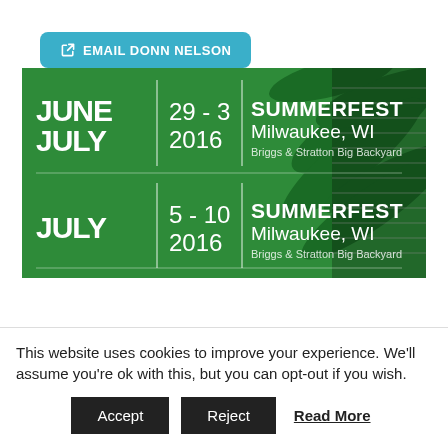EMAIL DONN NELSON
[Figure (illustration): Summerfest 2016 event banner showing two dates: June 29 - July 3, 2016 and July 5-10, 2016, Summerfest Milwaukee, WI, Briggs & Stratton Big Backyard, on a green tropical background]
This website uses cookies to improve your experience. We'll assume you're ok with this, but you can opt-out if you wish.
Accept
Reject
Read More